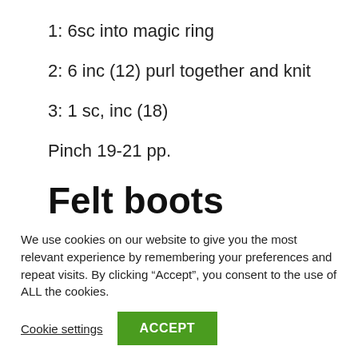1: 6sc into magic ring
2: 6 inc (12) purl together and knit
3: 1 sc, inc (18)
Pinch 19-21 pp.
Felt boots
We use cookies on our website to give you the most relevant experience by remembering your preferences and repeat visits. By clicking “Accept”, you consent to the use of ALL the cookies.
Cookie settings  ACCEPT